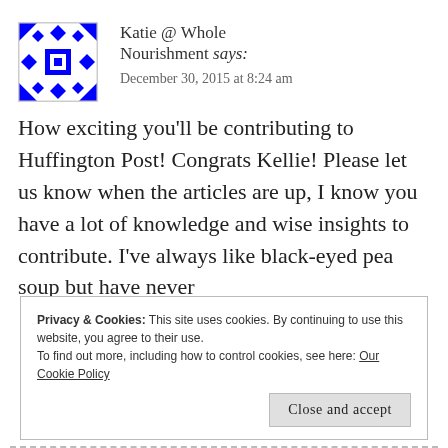Katie @ Whole Nourishment says:
December 30, 2015 at 8:24 am
[Figure (illustration): Blue and white decorative geometric quilt-pattern avatar image]
How exciting you'll be contributing to Huffington Post! Congrats Kellie! Please let us know when the articles are up, I know you have a lot of knowledge and wise insights to contribute. I've always like black-eyed pea soup but have never
Privacy & Cookies: This site uses cookies. By continuing to use this website, you agree to their use.
To find out more, including how to control cookies, see here: Our Cookie Policy
Close and accept